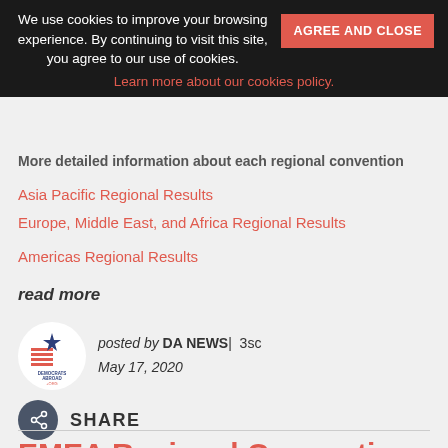We use cookies to improve your browsing experience. By continuing to visit this site, you agree to our use of cookies.
AGREE AND CLOSE
Learn more about our cookies policy.
More detailed information about each regional convention
Asia Pacific Regional Results
Europe, Middle East, and Africa Regional Results
Americas Regional Results
read more
[Figure (logo): Democrats Abroad .org circular logo with star and flag stripes]
posted by DA NEWS | 3sc
May 17, 2020
SHARE
EMEA Regional Convention